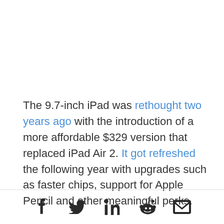The 9.7-inch iPad was rethought two years ago with the introduction of a more affordable $329 version that replaced iPad Air 2. It got refreshed the following year with upgrades such as faster chips, support for Apple Pencil and other meaningful perks.
[Figure (other): Social sharing icons: Facebook, Twitter, LinkedIn, Reddit, Email]